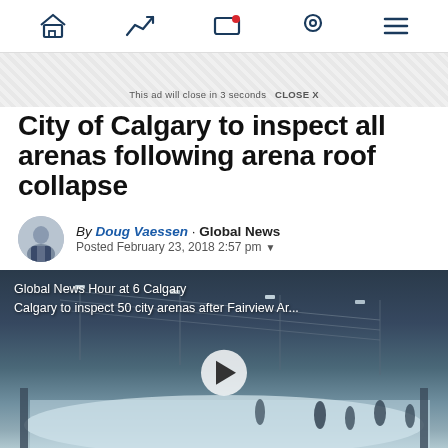Navigation bar with home, trending, screen/notifications, location, and menu icons
This ad will close in 3 seconds  CLOSE X
City of Calgary to inspect all arenas following arena roof collapse
By Doug Vaessen · Global News
Posted February 23, 2018 2:57 pm
[Figure (screenshot): Video thumbnail showing an indoor ice arena with players on the ice. Overlay text reads 'Global News Hour at 6 Calgary' and 'Calgary to inspect 50 city arenas after Fairview Ar...' with a play button in the center.]